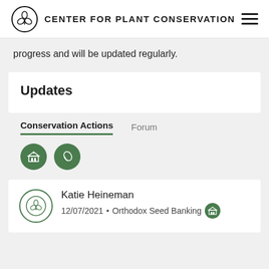CENTER FOR PLANT CONSERVATION
progress and will be updated regularly.
Updates
Conservation Actions	Forum
Katie Heineman
12/07/2021 • Orthodox Seed Banking